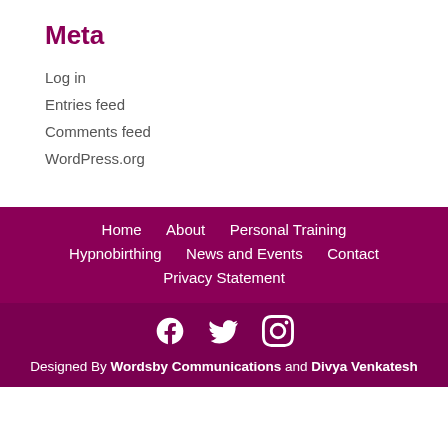Meta
Log in
Entries feed
Comments feed
WordPress.org
Home   About   Personal Training   Hypnobirthing   News and Events   Contact   Privacy Statement
[Figure (other): Social media icons: Facebook, Twitter, Instagram]
Designed By Wordsby Communications and Divya Venkatesh